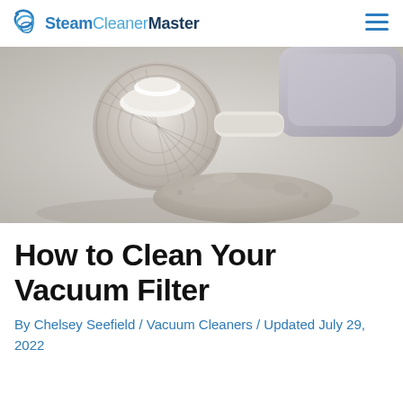SteamCleanerMaster
[Figure (photo): Close-up photo of a dirty vacuum filter with grey dust/debris spilled around it on a white surface, with part of a purple/grey vacuum cleaner visible in the background upper right.]
How to Clean Your Vacuum Filter
By Chelsey Seefield / Vacuum Cleaners / Updated July 29, 2022